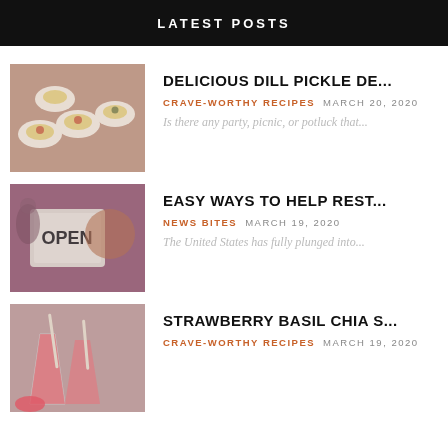LATEST POSTS
[Figure (photo): Deviled eggs topped with garnish on a plate]
DELICIOUS DILL PICKLE DE...
CRAVE-WORTHY RECIPES   MARCH 20, 2020
Is there any party, picnic, or potluck that...
[Figure (photo): Man holding an OPEN sign]
EASY WAYS TO HELP REST...
NEWS BITES   MARCH 19, 2020
The United States has fully plunged into...
[Figure (photo): Strawberry smoothie drinks with straws]
STRAWBERRY BASIL CHIA S...
CRAVE-WORTHY RECIPES   MARCH 19, 2020